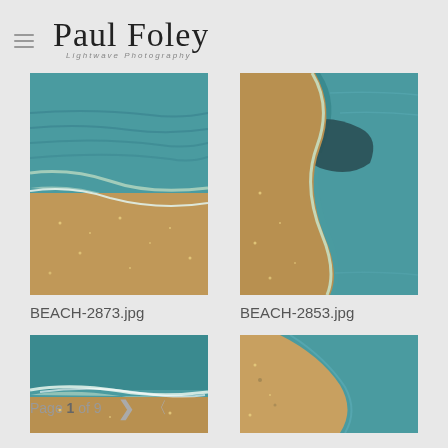Paul Foley Lightwave Photography
[Figure (photo): Close-up of beach waves meeting golden sand, teal water with ripple patterns - BEACH-2873.jpg]
BEACH-2873.jpg
[Figure (photo): Close-up of beach wave edge curving along sandy shore, teal/turquoise water - BEACH-2853.jpg]
BEACH-2853.jpg
[Figure (photo): Beach shoreline with gentle wave, teal water with white foam on sand - partial view]
[Figure (photo): Beach shoreline with curving wave on golden sand, teal blue water - partial view]
Page 1 of 9